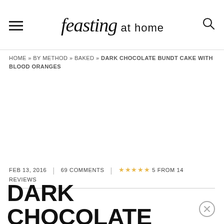feasting at home
HOME » BY METHOD » BAKED » DARK CHOCOLATE BUNDT CAKE WITH BLOOD ORANGES
FEB 13, 2016 | 69 COMMENTS | ★★★★★ 5 FROM 14 REVIEWS
DARK CHOCOLATE BUNDT CAKE WITH BLOOD ORANGES